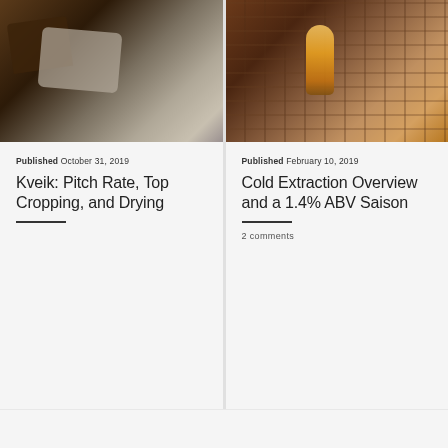[Figure (photo): Photo of dark chocolate pieces and a metallic/foil bag on a wooden surface]
Published October 31, 2019
Kveik: Pitch Rate, Top Cropping, and Drying
[Figure (photo): Photo of a glass of beer in front of a brick wall with warm candlelight]
Published February 10, 2019
Cold Extraction Overview and a 1.4% ABV Saison
2 comments